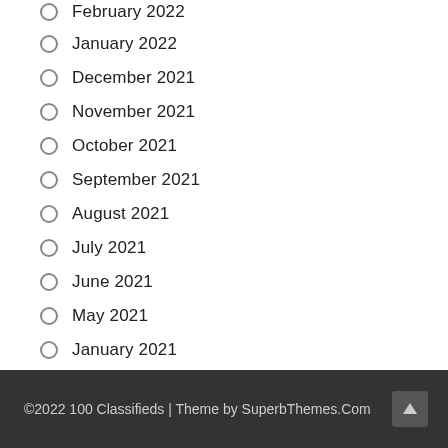February 2022
January 2022
December 2021
November 2021
October 2021
September 2021
August 2021
July 2021
June 2021
May 2021
January 2021
©2022 100 Classifieds | Theme by SuperbThemes.Com